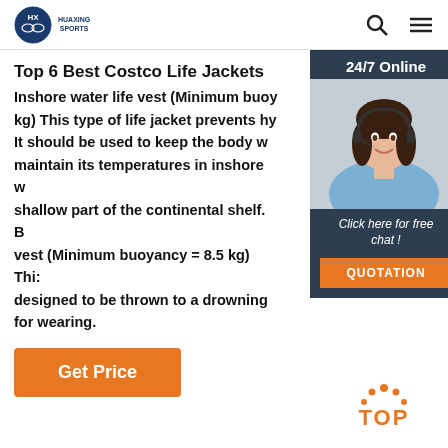HUAXING SPORTS
Top 6 Best Costco Life Jackets
Inshore water life vest (Minimum buoyancy = 7.5 kg) This type of life jacket prevents hypothermia. It should be used to keep the body warm and maintain its temperatures in inshore waters or the shallow part of the continental shelf. Buoyancy vest (Minimum buoyancy = 8.5 kg) This type is designed to be thrown to a drowning person, not for wearing.
[Figure (photo): Customer service representative woman with headset, smiling, with '24/7 Online' header, 'Click here for free chat!' text, and QUOTATION button]
Get Price
[Figure (logo): TOP button with dotted arc above, in orange color]